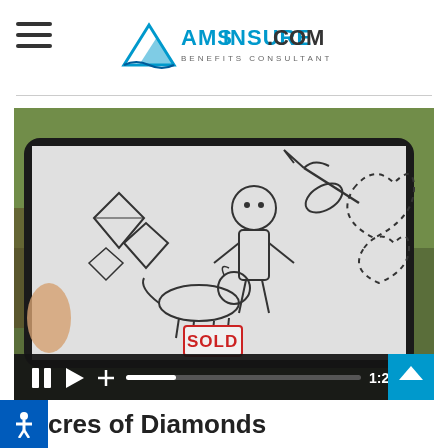AMSINSURE.COM BENEFITS CONSULTANTS
[Figure (screenshot): Video player showing a tablet device with whiteboard animation illustrations including diamonds, a person, animals with 'SOLD' sign, a pickaxe, and dotted heart shapes. Video controls bar shows pause, play, add buttons, a progress bar, and timestamp 1:26. A blue scroll-up arrow button is in the bottom right corner.]
cres of Diamonds